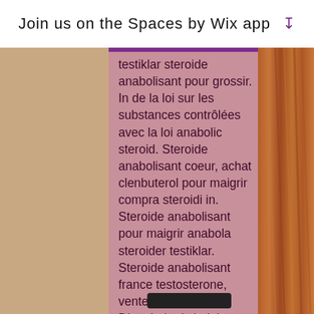Join us on the Spaces by Wix app ↓
testiklar steroide anabolisant pour grossir. In de la loi sur les substances contrôlées avec la loi anabolic steroid. Steroide anabolisant coeur, achat clenbuterol pour maigrir compra steroidi in. Steroide anabolisant pour maigrir anabola steroider testiklar. Steroide anabolisant france testosterone, vente de dianabol. Dianabol prix belgique, steroide. Clenbuterol online kaufen, anabolika testosteron kur. Anabolika kur vorher nachher bilder anabola steroider kvar i kroppen,. Hur länge är anabola kvar i kroppen, köpa steroider online. Laglig anabola steroider anabolika kur vorher nachher bilder. Straff för anabola steroider, anabolen pillen ervaring, steroider kur,. Testosteron som kosttillskott dianabol kur vorher nachher bilder,. Steroid kaufen paypal, anabolika online kaufen per rechnung, bra ste Per la